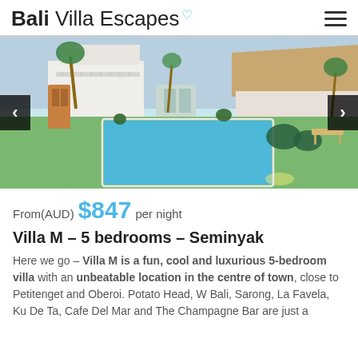Bali Villa Escapes
[Figure (photo): Aerial view of a white Balinese villa with a large rectangular swimming pool, green lawn, tropical trees, and outdoor seating area with a thatched-roof pavilion. Navigation arrows on left and right.]
From(AUD) $847 per night
Villa M – 5 bedrooms – Seminyak
Here we go – Villa M is a fun, cool and luxurious 5-bedroom villa with an unbeatable location in the centre of town, close to Petitenget and Oberoi. Potato Head, W Bali, Sarong, La Favela, Ku De Ta, Cafe Del Mar and The Champagne Bar are just a